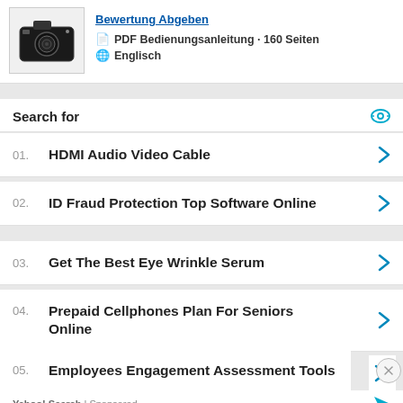[Figure (photo): Black digital camera (Samsung) thumbnail image]
PDF Bedienungsanleitung · 160 Seiten
Englisch
Search for
01. HDMI Audio Video Cable
02. ID Fraud Protection Top Software Online
03. Get The Best Eye Wrinkle Serum
04. Prepaid Cellphones Plan For Seniors Online
05. Employees Engagement Assessment Tools
Yahoo! Search | Sponsored